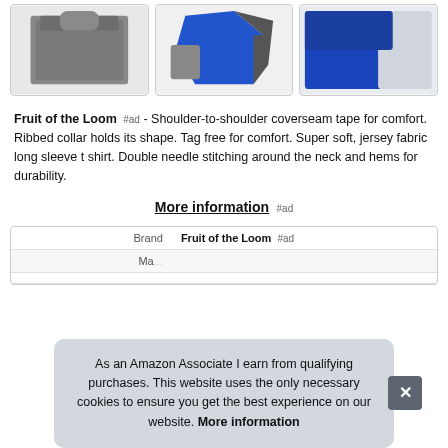[Figure (photo): Three product thumbnail images of clothing items — grey long sleeve shirt, blue and grey folded shirt, blue shirt sleeve — arranged in a row]
Fruit of the Loom #ad - Shoulder-to-shoulder coverseam tape for comfort. Ribbed collar holds its shape. Tag free for comfort. Super soft, jersey fabric long sleeve t shirt. Double needle stitching around the neck and hems for durability.
More information #ad
| Brand | Value |
| --- | --- |
| Brand | Fruit of the Loom #ad |
| Ma... |  |
As an Amazon Associate I earn from qualifying purchases. This website uses the only necessary cookies to ensure you get the best experience on our website. More information